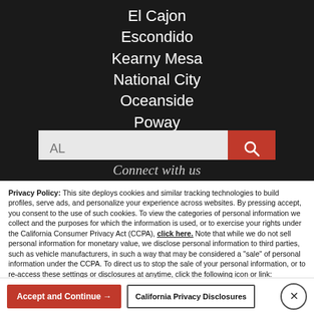El Cajon
Escondido
Kearny Mesa
National City
Oceanside
Poway
[Figure (screenshot): Search input field showing 'AL' placeholder text with a red search button with magnifying glass icon]
Connect with us
Privacy Policy: This site deploys cookies and similar tracking technologies to build profiles, serve ads, and personalize your experience across websites. By pressing accept, you consent to the use of such cookies. To view the categories of personal information we collect and the purposes for which the information is used, or to exercise your rights under the California Consumer Privacy Act (CCPA), click here. Note that while we do not sell personal information for monetary value, we disclose personal information to third parties, such as vehicle manufacturers, in such a way that may be considered a "sale" of personal information under the CCPA. To direct us to stop the sale of your personal information, or to re-access these settings or disclosures at anytime, click the following icon or link:
Do Not Sell My Personal Information
Language: English  Powered by ComplyAuto
Accept and Continue →  California Privacy Disclosures